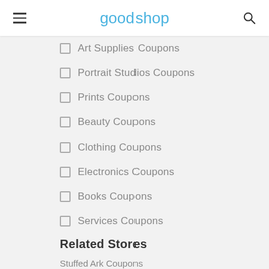goodshop
Art Supplies Coupons
Portrait Studios Coupons
Prints Coupons
Beauty Coupons
Clothing Coupons
Electronics Coupons
Books Coupons
Services Coupons
Related Stores
Stuffed Ark Coupons